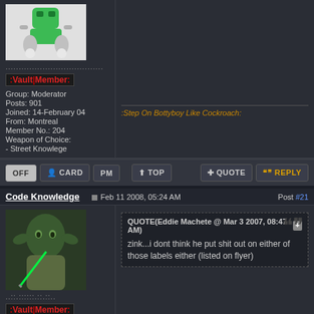[Figure (illustration): Avatar image of a cartoon character (green object with arms/legs) on white background]
..................................
[Figure (logo): Vault Member badge with red colon decorations]
Group: Moderator
Posts: 901
Joined: 14-February 04
From: Montreal
Member No.: 204
Weapon of Choice:
- Street Knowlege
:Step On Bottyboy Like Cockroach:
OFF  CARD  PM  TOP  QUOTE  REPLY
Code Knowledge
Feb 11 2008, 05:24 AM
Post #21
[Figure (photo): Photo of Yoda from Star Wars holding a green lightsaber]
..::.::::::.::.::.
[Figure (logo): Vault Member badge with red colon decorations]
Group: Moderator
QUOTE(Eddie Machete @ Mar 3 2007, 08:47 AM)
zink...i dont think he put shit out on either of those labels either (listed on flyer)